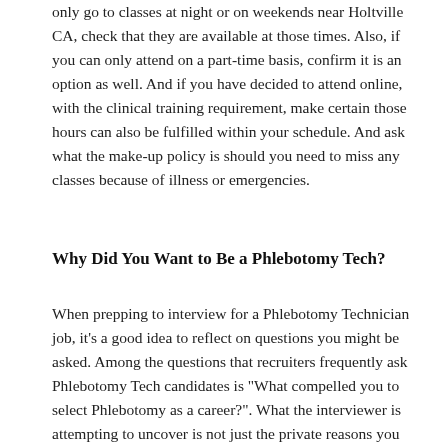only go to classes at night or on weekends near Holtville CA, check that they are available at those times. Also, if you can only attend on a part-time basis, confirm it is an option as well. And if you have decided to attend online, with the clinical training requirement, make certain those hours can also be fulfilled within your schedule. And ask what the make-up policy is should you need to miss any classes because of illness or emergencies.
Why Did You Want to Be a Phlebotomy Tech?
When prepping to interview for a Phlebotomy Technician job, it's a good idea to reflect on questions you might be asked. Among the questions that recruiters frequently ask Phlebotomy Tech candidates is "What compelled you to select Phlebotomy as a career?". What the interviewer is attempting to uncover is not just the private reasons you might have for becoming Phlebotomist, but also what characteristics and skills and how that re...